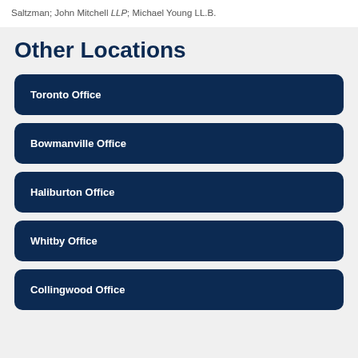Saltzman; John Mitchell LLP; Michael Young LL.B.
Other Locations
Toronto Office
Bowmanville Office
Haliburton Office
Whitby Office
Collingwood Office